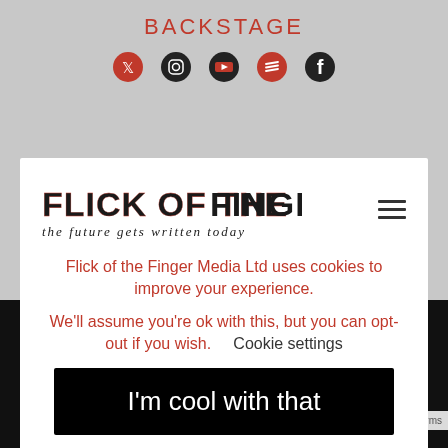BACKSTAGE
[Figure (infographic): Social media icons row: Twitter, Instagram, YouTube, Spotify, Facebook — all in red/dark red circle icons]
[Figure (logo): Flick of the Finger logo — distressed punk-style text reading FLICK OF THE FINGER with subtitle 'the future gets written today']
Flick of the Finger Media Ltd uses cookies to improve your experience.
We'll assume you're ok with this, but you can opt-out if you wish.      Cookie settings
I'm cool with that
[Figure (photo): Black and white concert photograph showing performer on stage with dramatic lighting]